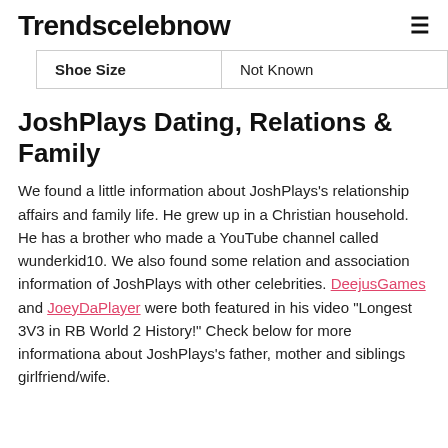Trendscelebnow
| Shoe Size | Not Known |
JoshPlays Dating, Relations & Family
We found a little information about JoshPlays's relationship affairs and family life. He grew up in a Christian household. He has a brother who made a YouTube channel called wunderkid10. We also found some relation and association information of JoshPlays with other celebrities. DeejusGames and JoeyDaPlayer were both featured in his video "Longest 3V3 in RB World 2 History!" Check below for more informationa about JoshPlays's father, mother and siblings girlfriend/wife.